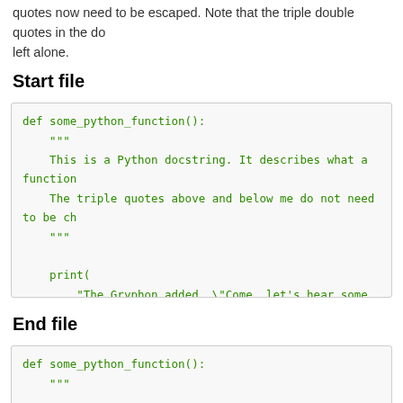quotes now need to be escaped. Note that the triple double quotes in the do... left alone.
Start file
[Figure (screenshot): Python code block showing def some_python_function() with docstring and print statement containing escaped quotes]
End file
[Figure (screenshot): Python code block showing start of def some_python_function() with triple-quote docstring]